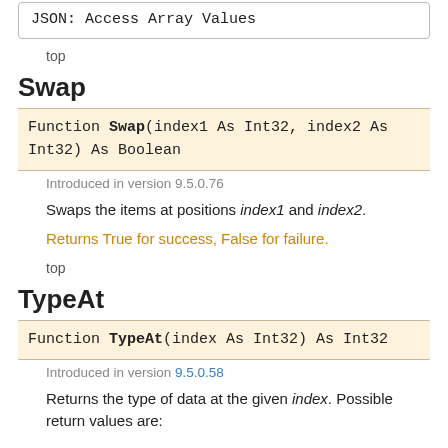JSON: Access Array Values
top
Swap
Function Swap(index1 As Int32, index2 As Int32) As Boolean
Introduced in version 9.5.0.76
Swaps the items at positions index1 and index2.
Returns True for success, False for failure.
top
TypeAt
Function TypeAt(index As Int32) As Int32
Introduced in version 9.5.0.58
Returns the type of data at the given index. Possible return values are: